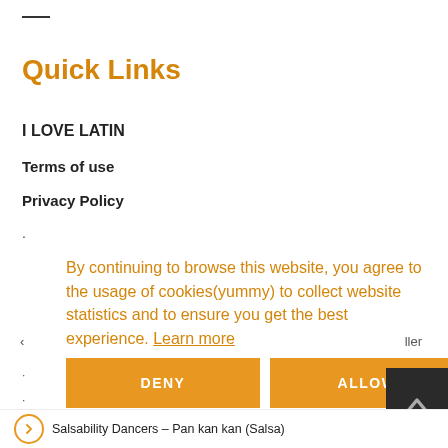Quick Links
I LOVE LATIN
Terms of use
Privacy Policy
.
By continuing to browse this website, you agree to the usage of cookies(yummy) to collect website statistics and to ensure you get the best experience. Learn more
DENY   ALLOW
Salsability Dancers – Pan kan kan (Salsa)